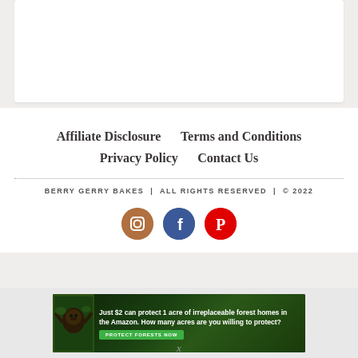Affiliate Disclosure   Terms and Conditions   Privacy Policy   Contact Us
BERRY GERRY BAKES | ALL RIGHTS RESERVED | © 2022
[Figure (infographic): Three social media icons: Instagram (brown circle), Facebook (blue circle), Pinterest (red circle)]
[Figure (infographic): Advertisement banner: Just $2 can protect 1 acre of irreplaceable forest homes in the Amazon. How many acres are you willing to protect? PROTECT FORESTS NOW]